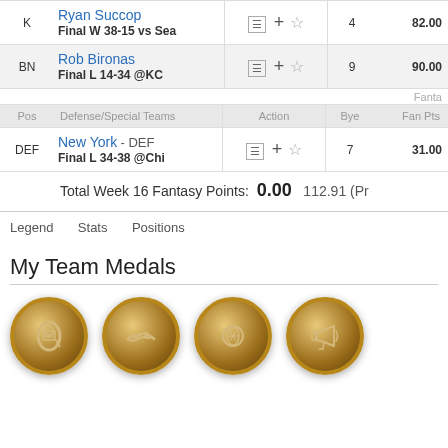| Pos | Player | Action | Bye | Fan Pts |
| --- | --- | --- | --- | --- |
| K | Ryan Succop
Final W 38-15 vs Sea | menu + star | 4 | 82.00 |
| BN | Rob Bironas
Final L 14-34 @KC | menu + star | 9 | 90.00 |
| Pos | Defense/Special Teams | Action | Bye | Fan Pts |
| --- | --- | --- | --- | --- |
| DEF | New York - DEF
Final L 34-38 @Chi | menu + star | 7 | 31.00 |
Total Week 16 Fantasy Points: 0.00    112.91 (Pr
Legend
Stats
Positions
My Team Medals
[Figure (illustration): Four gold medal coins with icons: toilet paper roll, handshake, football rosette, megaphone]